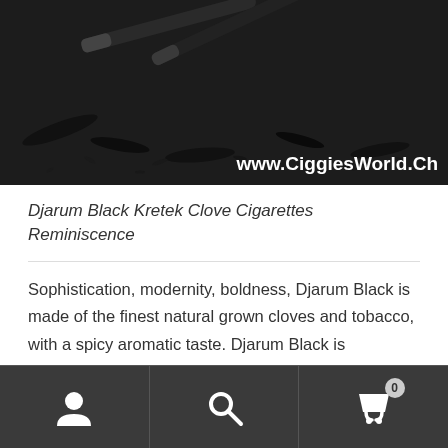[Figure (photo): Dark background photo showing cigarettes and loose tobacco/clove fragments scattered on a dark surface. White text overlay reads 'www.CiggiesWorld.Ch' in bottom right.]
Djarum Black Kretek Clove Cigarettes Reminiscence
Sophistication, modernity, boldness, Djarum Black is made of the finest natural grown cloves and tobacco, with a spicy aromatic taste. Djarum Black is internationally recognized for its blend of the finest tobaccos and cloves in unique black wrapping.
With 25 Mg Tar and 1.6 Mg Nicotine, give you the real Indonesian cigarettes.
Navigation bar with user, search, and cart (0) icons